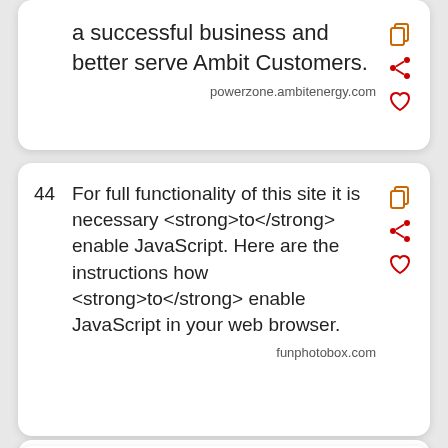a successful business and better serve Ambit Customers.
powerzone.ambitenergy.com
44  For full functionality of this site it is necessary <strong>to</strong> enable JavaScript. Here are the instructions how <strong>to</strong> enable JavaScript in your web browser.
funphotobox.com
45  Page 1 of 11. 1 "<strong>Lamb to the Slaughter</strong>" by ROALD DAHL The room was warm and clean, the curtains drawn, the two table lamps alight here and the one by the